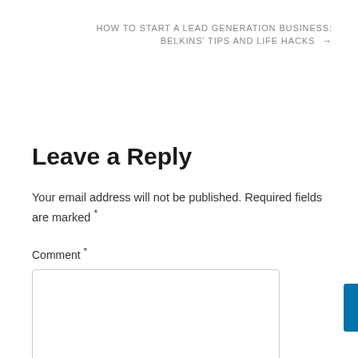HOW TO START A LEAD GENERATION BUSINESS: BELKINS' TIPS AND LIFE HACKS →
Leave a Reply
Your email address will not be published. Required fields are marked *
Comment *